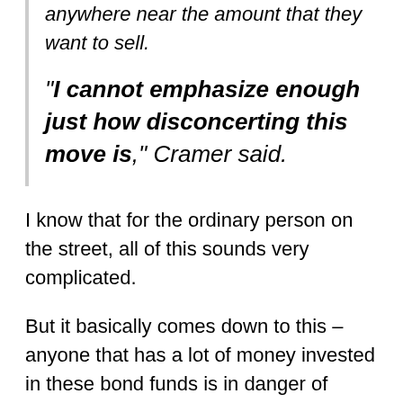anywhere near the amount that they want to sell.
“I cannot emphasize enough just how disconcerting this move is,” Cramer said.
I know that for the ordinary person on the street, all of this sounds very complicated.
But it basically comes down to this – anyone that has a lot of money invested in these bond funds is in danger of getting totally wiped out.
In a situation like this, it is those that are “first